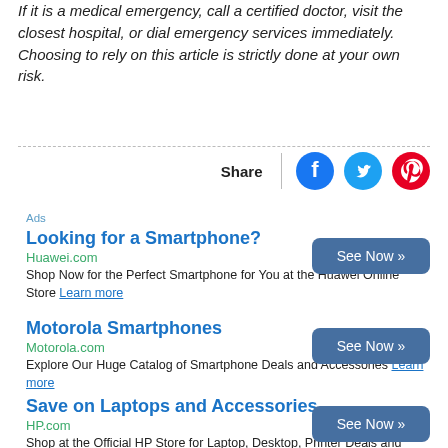If it is a medical emergency, call a certified doctor, visit the closest hospital, or dial emergency services immediately. Choosing to rely on this article is strictly done at your own risk.
Share
Ads
Looking for a Smartphone?
Huawei.com
Shop Now for the Perfect Smartphone for You at the Huawei Online Store Learn more
Motorola Smartphones
Motorola.com
Explore Our Huge Catalog of Smartphone Deals and Accessories Learn more
Save on Laptops and Accessories
HP.com
Shop at the Official HP Store for Laptop, Desktop, Printer Deals and More! Learn more